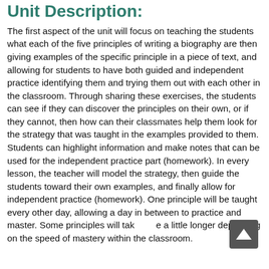Unit Description:
The first aspect of the unit will focus on teaching the students what each of the five principles of writing a biography are then giving examples of the specific principle in a piece of text, and allowing for students to have both guided and independent practice identifying them and trying them out with each other in the classroom. Through sharing these exercises, the students can see if they can discover the principles on their own, or if they cannot, then how can their classmates help them look for the strategy that was taught in the examples provided to them. Students can highlight information and make notes that can be used for the independent practice part (homework). In every lesson, the teacher will model the strategy, then guide the students toward their own examples, and finally allow for independent practice (homework). One principle will be taught every other day, allowing a day in between to practice and master. Some principles will take a little longer depending on the speed of mastery within the classroom.